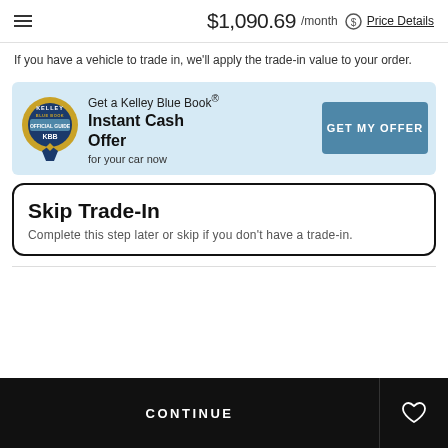$1,090.69 /month Price Details
If you have a vehicle to trade in, we'll apply the trade-in value to your order.
[Figure (infographic): Kelley Blue Book banner with circular KBB logo badge, text 'Get a Kelley Blue Book® Instant Cash Offer for your car now', and a blue 'GET MY OFFER' button.]
Skip Trade-In
Complete this step later or skip if you don't have a trade-in.
CONTINUE